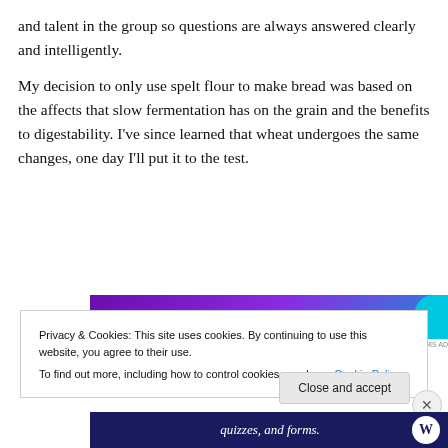and talent in the group so questions are always answered clearly and intelligently.
My decision to only use spelt flour to make bread was based on the affects that slow fermentation has on the grain and the benefits to digestability. I've since learned that wheat undergoes the same changes, one day I'll put it to the test.
[Figure (screenshot): Advertisement banner with purple gradient background and cyan blob, text reading 'a business in 6 steps']
Privacy & Cookies: This site uses cookies. By continuing to use this website, you agree to their use.
To find out more, including how to control cookies, see here: Cookie Policy
[Figure (screenshot): Bottom advertisement banner with dark blue background, italic text 'quizzes, and forms.' and WordPress logo]